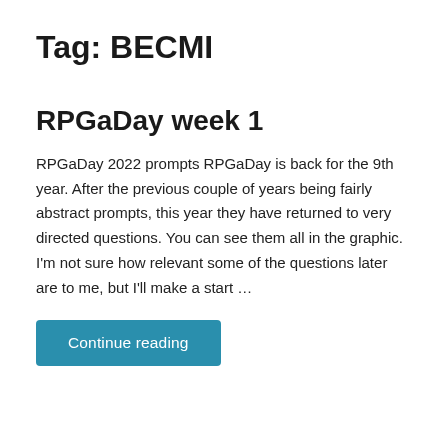Tag: BECMI
RPGaDay week 1
RPGaDay 2022 prompts RPGaDay is back for the 9th year. After the previous couple of years being fairly abstract prompts, this year they have returned to very directed questions. You can see them all in the graphic. I'm not sure how relevant some of the questions later are to me, but I'll make a start …
Continue reading